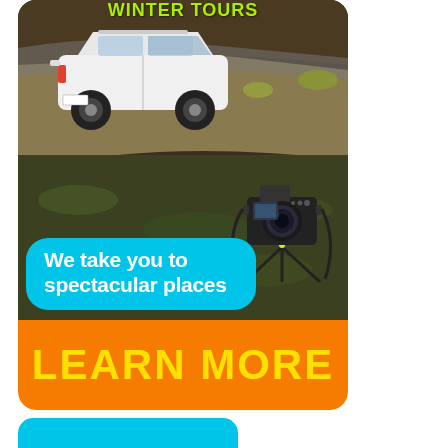Winter tours
[Figure (photo): Advertisement card showing a white Toyota Land Cruiser Prado SUV driving on a dirt road in a barren landscape, with a DSLR camera on a tripod in the foreground. A cyan speech bubble reads 'We take you to spectacular places'. An orange banner below reads 'LEARN MORE' in yellow bold text.]
We take you to spectacular places
LEARN MORE